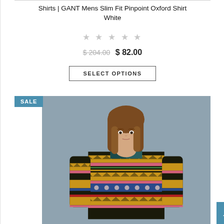Shirts | GANT Mens Slim Fit Pinpoint Oxford Shirt White
★★★★★ (rating stars, empty)
$ 204.00  $ 82.00
SELECT OPTIONS
[Figure (photo): Male model with shoulder-length brown hair wearing a colorful patterned fair isle sweater over a dark collar shirt, photographed against a grey-blue background. A SALE badge appears in the upper left corner of the image.]